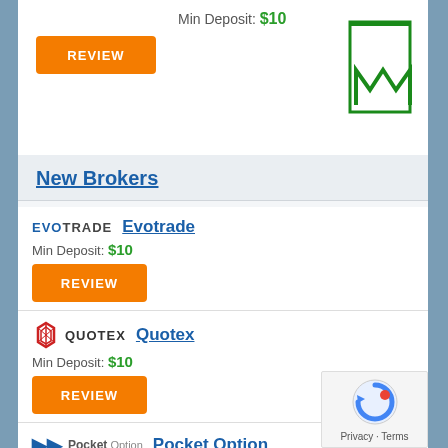Min Deposit: $10
REVIEW
New Brokers
Evotrade
Min Deposit: $10
REVIEW
Quotex
Min Deposit: $10
REVIEW
Pocket Option
Min Deposit: $10
REVIEW
Deriv
Min Deposit: $5